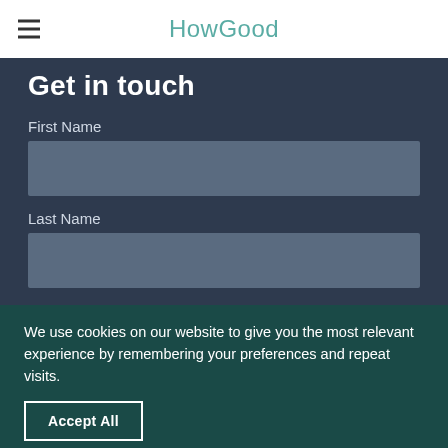HowGood
Get in touch
First Name
Last Name
Email
We use cookies on our website to give you the most relevant experience by remembering your preferences and repeat visits.
Accept All